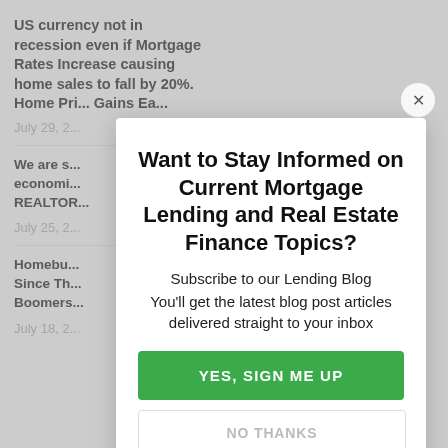US currency not in recession even if Mortgage Rates Increase causing home sales to fall by 20%. Home Pri... Gains Ea...
July 29, 2...
We are s... economi... REALTOR...
July 25, 2...
Homebu... Since Th... Boomers...
July 18, 20...
Want to Stay Informed on Current Mortgage Lending and Real Estate Finance Topics?
Subscribe to our Lending Blog
You'll get the latest blog post articles delivered straight to your inbox
YES, SIGN ME UP
NO THANKS